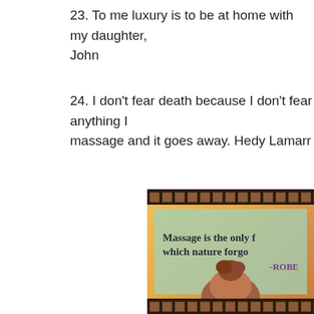23. To me luxury is to be at home with my daughter, John
24. I don’t fear death because I don’t fear anything I... massage and it goes away. Hedy Lamarr
[Figure (photo): Decorative image with film strip borders (top and bottom), a mint-green quote overlay reading 'Massage is the only f... which nature forgo... -ROBE...' and a person's head visible at the bottom.]